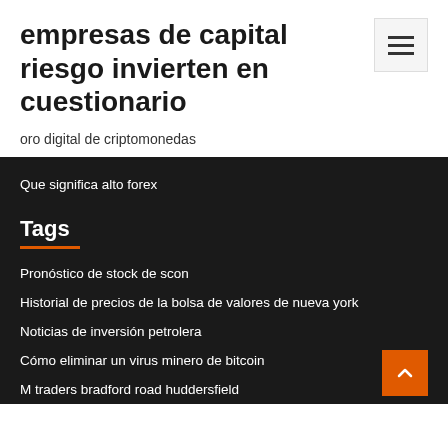empresas de capital riesgo invierten en cuestionario
oro digital de criptomonedas
Que significa alto forex
Tags
Pronóstico de stock de scon
Historial de precios de la bolsa de valores de nueva york
Noticias de inversión petrolera
Cómo eliminar un virus minero de bitcoin
M traders bradford road huddersfield